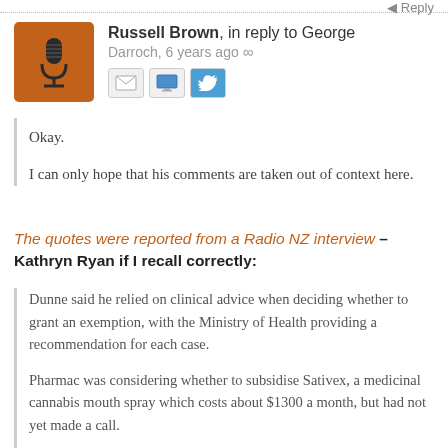← Reply
Russell Brown, in reply to George Darroch, 6 years ago ∞
[Figure (illustration): Orange avatar with a vintage microphone icon]
[Figure (illustration): Social sharing icons: email, computer/share, Twitter]
Okay.

I can only hope that his comments are taken out of context here.
The quotes were reported from a Radio NZ interview – Kathryn Ryan if I recall correctly:
Dunne said he relied on clinical advice when deciding whether to grant an exemption, with the Ministry of Health providing a recommendation for each case.

Pharmac was considering whether to subsidise Sativex, a medicinal cannabis mouth spray which costs about $1300 a month, but had not yet made a call.

Dunne rejected calls to allow the use of raw cannabis for medical reasons, saying the